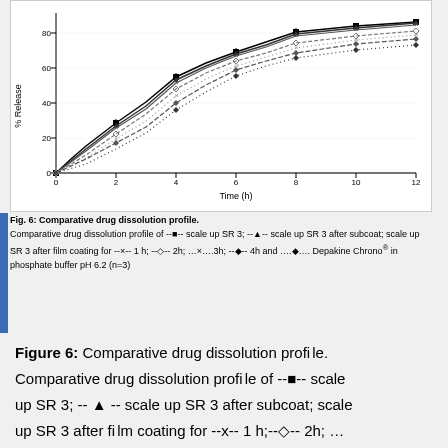[Figure (continuous-plot): Line chart showing comparative drug dissolution profiles. Y-axis: % Release (0-80+), X-axis: Time (h) (0-12). Multiple lines with error bars showing different SR3 formulations and Depakine Chrono reference.]
Fig. 6: Comparative drug dissolution profile. Comparative drug dissolution profile of --■-- scale up SR 3; --▲-- scale up SR 3 after subcoat; scale up SR 3 after film coating for --×-- 1 h; --◇-- 2h; …×….3h; --♦-- 4h and ….♦…. Depakine Chrono® in phosphate buffer pH 6.2 (n=3)
Figure 6: Comparative drug dissolution profile. Comparative drug dissolution profile of --■-- scale up SR 3; -- ▲ -- scale up SR 3 after subcoat; scale up SR 3 after film coating for --x-- 1 h;--◇-- 2h; …x….3h; --♦-- 4h and ….♦…. Depakine Chrono® in